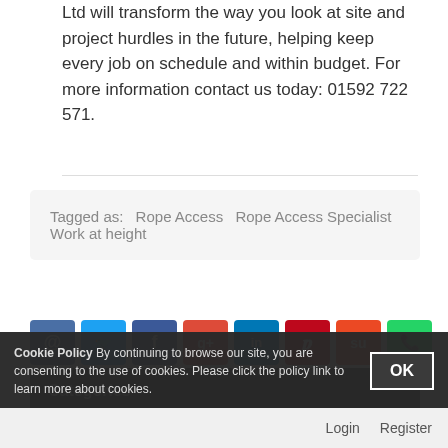Ltd will transform the way you look at site and project hurdles in the future, helping keep every job on schedule and within budget. For more information contact us today: 01592 722 571.
Tagged as: Rope Access  Rope Access Specialist  Work at height
[Figure (infographic): Row of 8 social sharing icon buttons: email (@), Twitter (bird), Facebook (f), Google+ (g+), LinkedIn (in), Pinterest (p), StumbleUpon (su), WhatsApp (phone)]
« Newer
Older »
Categories
Inspection & Rope Access Specialists
Cookie Policy By continuing to browse our site, you are consenting to the use of cookies. Please click the policy link to learn more about cookies.
Login  Register